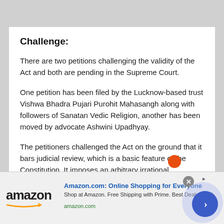Challenge:
There are two petitions challenging the validity of the Act and both are pending in the Supreme Court.
One petition has been filed by the Lucknow-based trust Vishwa Bhadra Pujari Purohit Mahasangh along with followers of Sanatan Vedic Religion, another has been moved by advocate Ashwini Upadhyay.
The petitioners challenged the Act on the ground that it bars judicial review, which is a basic feature of the Constitution. It imposes an arbitrary irrational
[Figure (other): Amazon advertisement banner with logo, headline 'Amazon.com: Online Shopping for Everyone', subtext 'Shop at Amazon. Free Shipping with Prime. Best Deals Ever!', url 'amazon.com', close button, and forward arrow button]